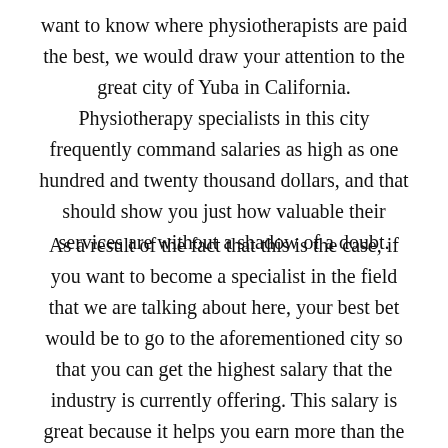want to know where physiotherapists are paid the best, we would draw your attention to the great city of Yuba in California. Physiotherapy specialists in this city frequently command salaries as high as one hundred and twenty thousand dollars, and that should show you just how valuable their services are without a shadow of a doubt.
As a result of the fact that this is the case, if you want to become a specialist in the field that we are talking about here, your best bet would be to go to the aforementioned city so that you can get the highest salary that the industry is currently offering. This salary is great because it helps you earn more than the bare minimum for expenses. Instead, it gives you a more positive outlook on life